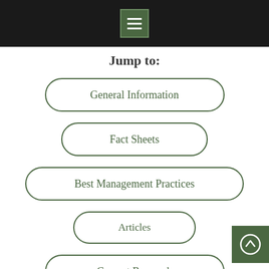[Figure (screenshot): Black top bar with green menu/hamburger icon button]
Jump to:
General Information
Fact Sheets
Best Management Practices
Articles
Current Research
Further Reading
[Figure (screenshot): Green scroll-to-top button with upward arrow circle icon in bottom-right corner]